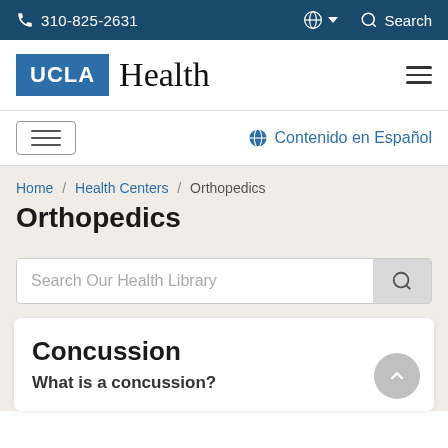310-825-2631  Search
[Figure (logo): UCLA Health logo with UCLA in white text on blue background and Health in serif font]
Contenido en Español
Home / Health Centers / Orthopedics
Orthopedics
Search Our Health Library
Concussion
What is a concussion?